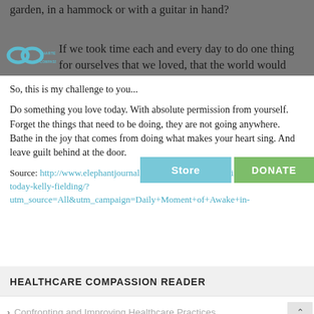garden, in a hammock or with a guitar in hand?
[Figure (logo): Charter for Compassion logo with infinity-like symbol in teal/blue]
If we took time each and every day to do one thing for ourselves that we loved, that the world would truly be a better place.
So, this is my challenge to you...
Do something you love today. With absolute permission from yourself. Forget the things that need to be doing, they are not going anywhere. Bathe in the joy that comes from doing what makes your heart sing. And leave guilt behind at the door.
Source: http://www.elephantjournal.com/2013/09/do-something-you-love-today-kelly-fielding/?utm_source=All&utm_campaign=Daily+Moment+of+Awake+in-
HEALTHCARE COMPASSION READER
Confronting and Improving Healthcare Practices
Defining and Understanding Compassion